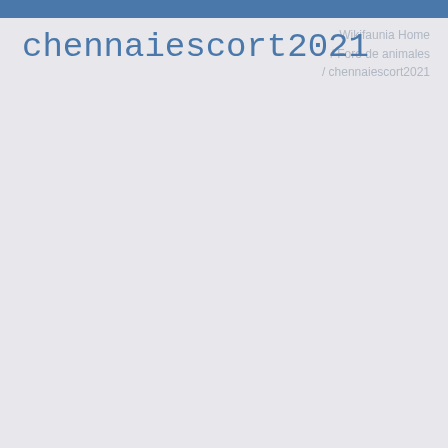Wikifaunia Home / Foro de animales / chennaiescort2021
chennaiescort2021